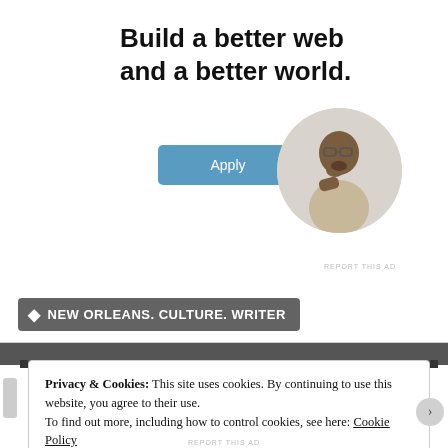Build a better web and a better world.
[Figure (other): Blue Apply button for job application]
[Figure (photo): Circular photo of a man sitting at a desk, resting his chin on his hand, looking upward, wearing glasses and a beige shirt]
REPORT THIS AD
NEW ORLEANS. CULTURE. WRITER
Privacy & Cookies: This site uses cookies. By continuing to use this website, you agree to their use.
To find out more, including how to control cookies, see here: Cookie Policy
Close and accept